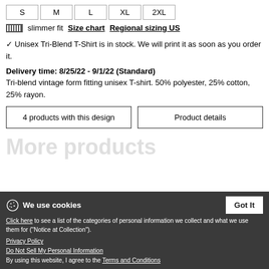S M L XL 2XL
slimmer fit  Size chart  Regional sizing US
✓ Unisex Tri-Blend T-Shirt is in stock. We will print it as soon as you order it.
Delivery time: 8/25/22 - 9/1/22 (Standard)
Tri-blend vintage form fitting unisex T-shirt. 50% polyester, 25% cotton, 25% rayon.
4 products with this design
Product details
More products
We use cookies
Click here to see a list of the categories of personal information we collect and what we use them for ("Notice at Collection").
Privacy Policy
Do Not Sell My Personal Information
By using this website, I agree to the Terms and Conditions